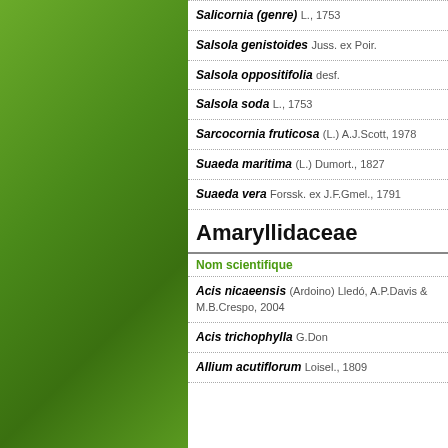Salicornia (genre) L., 1753
Salsola genistoides Juss. ex Poir.
Salsola oppositifolia desf.
Salsola soda L., 1753
Sarcocornia fruticosa (L.) A.J.Scott, 1978
Suaeda maritima (L.) Dumort., 1827
Suaeda vera Forssk. ex J.F.Gmel., 1791
Amaryllidaceae
| Nom scientifique |
| --- |
Acis nicaeensis (Ardoino) Lledó, A.P.Davis & M.B.Crespo, 2004
Acis trichophylla G.Don
Allium acutiflorum Loisel., 1809